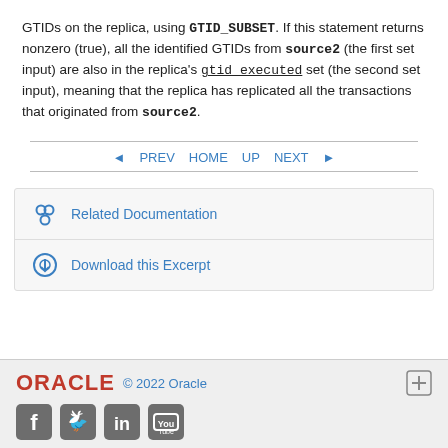GTIDs on the replica, using GTID_SUBSET. If this statement returns nonzero (true), all the identified GTIDs from source2 (the first set input) are also in the replica's gtid_executed set (the second set input), meaning that the replica has replicated all the transactions that originated from source2.
◄ PREV   HOME   UP   NEXT ►
Related Documentation
Download this Excerpt
ORACLE  © 2022 Oracle